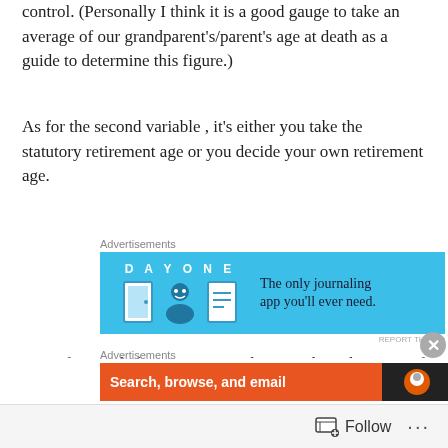control. (Personally I think it is a good gauge to take an average of our grandparent's/parent's age at death as a guide to determine this figure.)
As for the second variable , it's either you take the statutory retirement age or you decide your own retirement age.
[Figure (photo): Blue advertisement banner for Day One journaling app with icons and text 'The only journaling app you'll ever need.']
Some financial planners suggest that we take either 70% of your current expenses or last drawn income as a guide to how much you need during retirement because your lifestyle expenses like travelling, hp bills, cab fares
[Figure (photo): Red advertisement banner with text 'Search, browse, and email' and a dark box with duck logo icon]
Follow ...